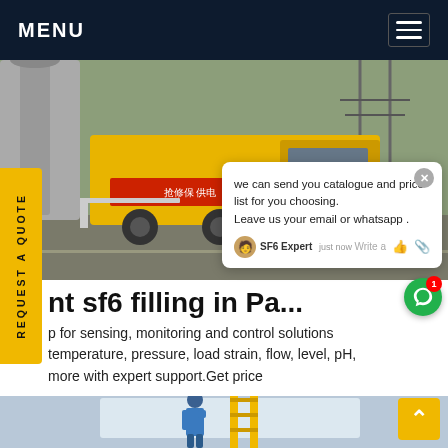MENU
[Figure (photo): Yellow utility truck parked near industrial equipment, with Chinese text on the side reading 抢修保 供电, at an industrial site with large pipe infrastructure.]
we can send you catalogue and price list for you choosing. Leave us your email or whatsapp .
SF6 Expert   just now
Write a
nt sf6 filling in Pa...
p for sensing, monitoring and control solutions temperature, pressure, load strain, flow, level, pH, more with expert support.Get price
[Figure (photo): Worker in blue uniform on a yellow ladder servicing equipment on a white surface, outdoor industrial setting.]